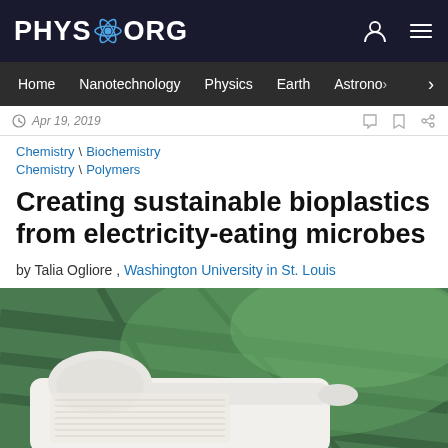PHYS.ORG — Home | Nanotechnology | Physics | Earth | Astronomy
Apr 19, 2019
Chemistry \ Biochemistry
Chemistry \ Polymers
Creating sustainable bioplastics from electricity-eating microbes
by Talia Ogliore , Washington University in St. Louis
[Figure (photo): A white bioplastic spoon resting on a white biodegradable tray, with green tropical leaves in the background]